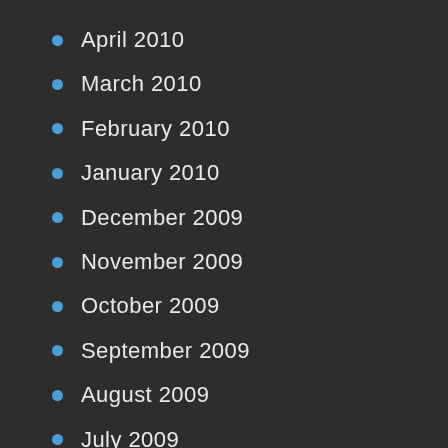April 2010
March 2010
February 2010
January 2010
December 2009
November 2009
October 2009
September 2009
August 2009
July 2009
January 1970